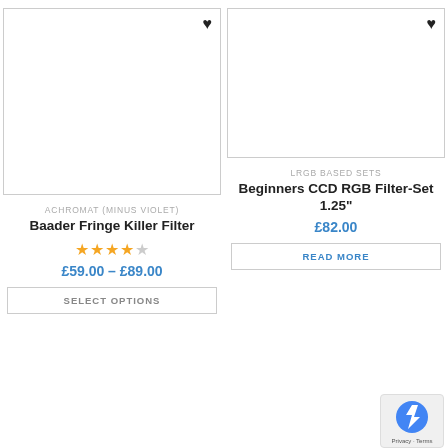[Figure (photo): White product image placeholder with heart icon, left card]
ACHROMAT (MINUS VIOLET)
Baader Fringe Killer Filter
★★★★☆
£59.00 – £89.00
SELECT OPTIONS
[Figure (photo): White product image placeholder with heart icon, right card]
LRGB BASED SETS
Beginners CCD RGB Filter-Set 1.25"
£82.00
READ MORE